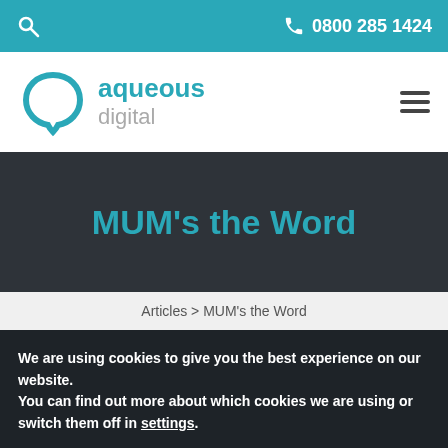0800 285 1424
[Figure (logo): Aqueous Digital logo — teal circular speech-bubble icon with text 'aqueous digital']
MUM's the Word
Articles > MUM's the Word
We are using cookies to give you the best experience on our website.
You can find out more about which cookies we are using or switch them off in settings.
Accept